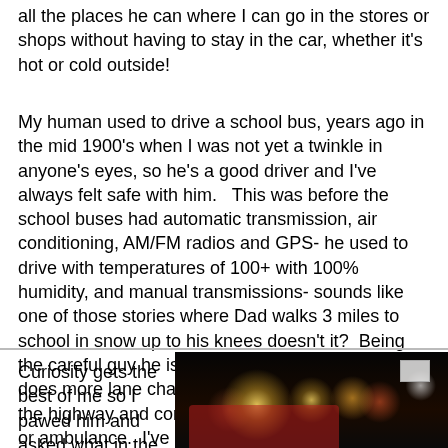all the places he can where I can go in the stores or shops without having to stay in the car, whether it's hot or cold outside!
My human used to drive a school bus, years ago in the mid 1900's when I was not yet a twinkle in anyone's eyes, so he's a good driver and I've always felt safe with him.   This was before the school buses had automatic transmission, air conditioning, AM/FM radios and GPS- he used to drive with temperatures of 100+ with 100% humidity, and manual transmissions- sounds like one of those stories where Dad walks 3 miles to school in snow up to his knees doesn't it?  Being the careful guy he is, I've gotten curious when he does more lane changing when he's driving down the highway and comes up a police car or fire truck or ambulance.  I've noticed sometimes there are people there or I can see their cars.
Curiosity gets the best of me so I pawed him and asked what in the world he was
[Figure (photo): A nighttime photograph showing a road scene with emergency vehicles and cars, bright lights illuminating the dark scene, a white sign visible in the upper right area of the photo.]